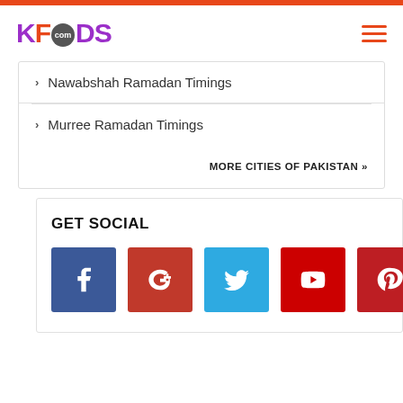KFOODS.com
Nawabshah Ramadan Timings
Murree Ramadan Timings
MORE CITIES OF PAKISTAN »
GET SOCIAL
[Figure (infographic): Five social media icon buttons: Facebook (blue), Google+ (red-brown), Twitter (light blue), YouTube (red), Pinterest (red)]